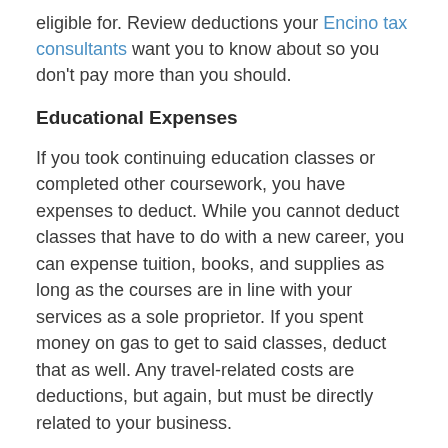eligible for. Review deductions your Encino tax consultants want you to know about so you don't pay more than you should.
Educational Expenses
If you took continuing education classes or completed other coursework, you have expenses to deduct. While you cannot deduct classes that have to do with a new career, you can expense tuition, books, and supplies as long as the courses are in line with your services as a sole proprietor. If you spent money on gas to get to said classes, deduct that as well. Any travel-related costs are deductions, but again, but must be directly related to your business.
Retirement Contributions